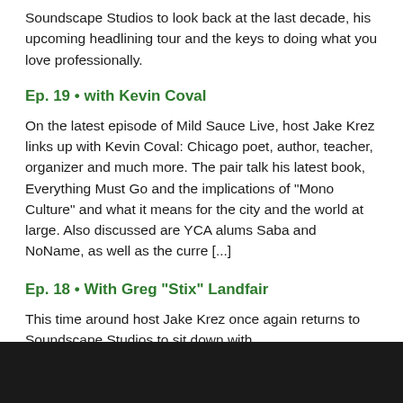Soundscape Studios to look back at the last decade, his upcoming headlining tour and the keys to doing what you love professionally.
Ep. 19 • with Kevin Coval
On the latest episode of Mild Sauce Live, host Jake Krez links up with Kevin Coval: Chicago poet, author, teacher, organizer and much more. The pair talk his latest book, Everything Must Go and the implications of "Mono Culture" and what it means for the city and the world at large. Also discussed are YCA alums Saba and NoName, as well as the curre [...]
Ep. 18 • With Greg "Stix" Landfair
This time around host Jake Krez once again returns to Soundscape Studios to sit down with musician/producer/artist and much more, Greg "Stix" Landfair. Greg is well-known for his work as a drummer with Kids These Days and Chance The Rapper as well as SZA and Frank Ocean and expanded to production with a credit on Chance's "Mixtape" f [...]